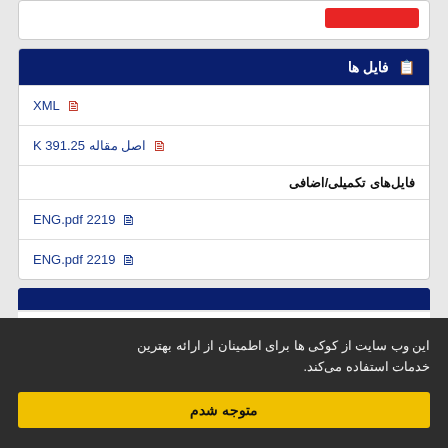[Figure (screenshot): Partial top card with red button]
فایل ها
XML
اصل مقاله 391.25 K
فایل‌های تکمیلی/اضافی
2219 ENG.pdf
2219 ENG.pdf
این وب سایت از کوکی ها برای اطمینان از ارائه بهترین خدمات استفاده می‌کند.
متوجه شدم